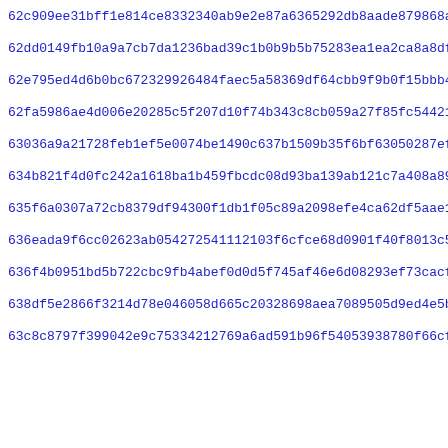62c909ee31bff1e814ce8332340ab9e2e87a6365292db8aade879868a77a7
62dd0149fb10a9a7cb7da1236bad39c1b0b9b5b75283ea1ea2ca8a8dfc77e
62e795ed4d6b0bc672329926484faec5a58369df64cbb9f9b0f15bbb47c7d
62fa5986ae4d006e20285c5f207d10f74b343c8cb059a27f85fc544218662
63036a9a21728feb1ef5e0074be1490c637b1509b35f6bf63050287ef85dc
634b821f4d0fc242a1618ba1b459fbcdc08d93ba139ab121c7a408a891e02
635f6a0307a72cb8379df94300f1db1f05c89a2098efe4ca62df5aae1c673
636eada9f6cc02623ab054272541112103f6cfce68d0901f40f8013c5a266
636f4b0951bd5b722cbc9fb4abef0d0d5f745af46e6d08293ef73cacf8b14
638df5e2866f3214d78e046058d665c20328698aea7089505d9ed4e5b5327
63c8c8797f399042e9c75334212769a6ad591b96f54053938780f66cf76b6